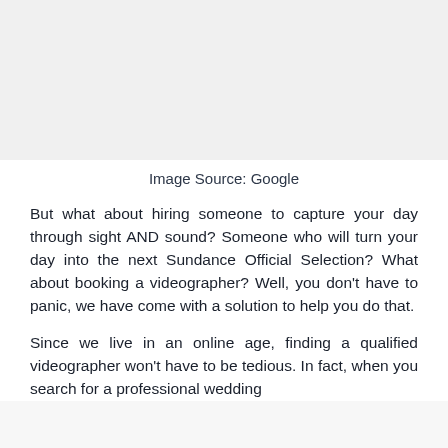[Figure (photo): Blank/white image area at the top of the page]
Image Source: Google
But what about hiring someone to capture your day through sight AND sound? Someone who will turn your day into the next Sundance Official Selection? What about booking a videographer? Well, you don't have to panic, we have come with a solution to help you do that.
Since we live in an online age, finding a qualified videographer won't have to be tedious. In fact, when you search for a professional wedding